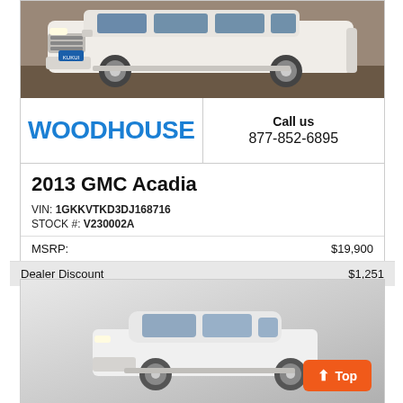[Figure (photo): White GMC Acadia SUV front quarter view in dealership]
WOODHOUSE
Call us
877-852-6895
2013 GMC Acadia
VIN: 1GKKVTKD3DJ168716
STOCK #: V230002A
| MSRP: | $19,900 |
| Dealer Discount | $1,251 |
CLICK HERE
$18,649
[Figure (photo): White luxury sedan front quarter view in dealership]